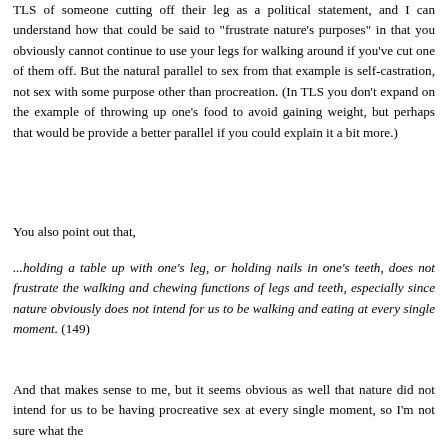TLS of someone cutting off their leg as a political statement, and I can understand how that could be said to "frustrate nature's purposes" in that you obviously cannot continue to use your legs for walking around if you've cut one of them off. But the natural parallel to sex from that example is self-castration, not sex with some purpose other than procreation. (In TLS you don't expand on the example of throwing up one's food to avoid gaining weight, but perhaps that would be provide a better parallel if you could explain it a bit more.)
You also point out that,
...holding a table up with one's leg, or holding nails in one's teeth, does not frustrate the walking and chewing functions of legs and teeth, especially since nature obviously does not intend for us to be walking and eating at every single moment. (149)
And that makes sense to me, but it seems obvious as well that nature did not intend for us to be having procreative sex at every single moment, so I'm not sure what the